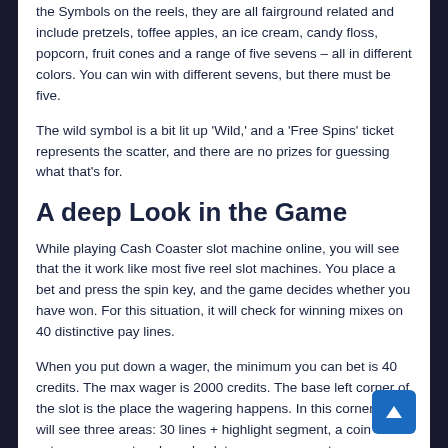the Symbols on the reels, they are all fairground related and include pretzels, toffee apples, an ice cream, candy floss, popcorn, fruit cones and a range of five sevens – all in different colors. You can win with different sevens, but there must be five.
The wild symbol is a bit lit up 'Wild,' and a 'Free Spins' ticket represents the scatter, and there are no prizes for guessing what that's for.
A deep Look in the Game
While playing Cash Coaster slot machine online, you will see that the it work like most five reel slot machines. You place a bet and press the spin key, and the game decides whether you have won. For this situation, it will check for winning mixes on 40 distinctive pay lines.
When you put down a wager, the minimum you can bet is 40 credits. The max wager is 2000 credits. The base left corner of the slot is the place the wagering happens. In this corner, you will see three areas: 30 lines + highlight segment, a coin esteem segment and an absolute wager segment.
The primary segment is the place you see the base wager, which is 40 coins. This does not change.
The second segment is the place you put down your wager,